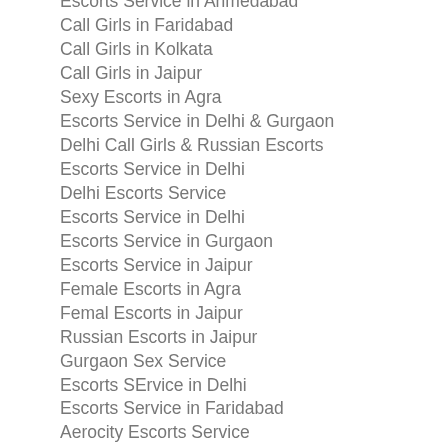Escorts Service in Ahmedabad
Call Girls in Faridabad
Call Girls in Kolkata
Call Girls in Jaipur
Sexy Escorts in Agra
Escorts Service in Delhi & Gurgaon
Delhi Call Girls & Russian Escorts
Escorts Service in Delhi
Delhi Escorts Service
Escorts Service in Delhi
Escorts Service in Gurgaon
Escorts Service in Jaipur
Female Escorts in Agra
Femal Escorts in Jaipur
Russian Escorts in Jaipur
Gurgaon Sex Service
Escorts SErvice in Delhi
Escorts Service in Faridabad
Aerocity Escorts Service
Hi Profile Call Girls in Agra
Escorts Service in Agra
Delhi Call Girls
Escorts Service in Aerocity